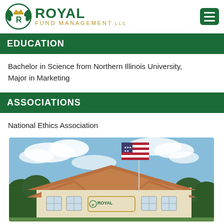[Figure (logo): Royal Fund Management LLC logo with circular emblem and green text]
EDUCATION
Bachelor in Science from Northern Illinois University, Major in Marketing
ASSOCIATIONS
National Ethics Association
[Figure (photo): Royal Fund Management building exterior with American flag on flagpole, under partly cloudy sky]